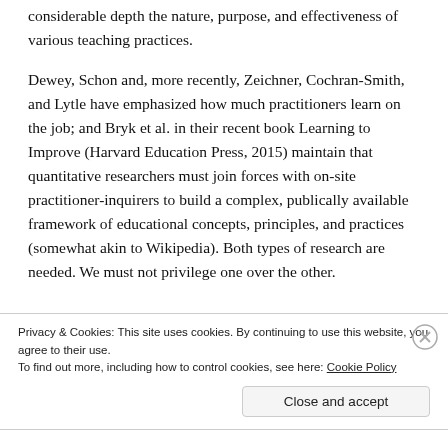considerable depth the nature, purpose, and effectiveness of various teaching practices.
Dewey, Schon and, more recently, Zeichner, Cochran-Smith, and Lytle have emphasized how much practitioners learn on the job; and Bryk et al. in their recent book Learning to Improve (Harvard Education Press, 2015) maintain that quantitative researchers must join forces with on-site practitioner-inquirers to build a complex, publically available framework of educational concepts, principles, and practices (somewhat akin to Wikipedia). Both types of research are needed. We must not privilege one over the other.
Privacy & Cookies: This site uses cookies. By continuing to use this website, you agree to their use. To find out more, including how to control cookies, see here: Cookie Policy